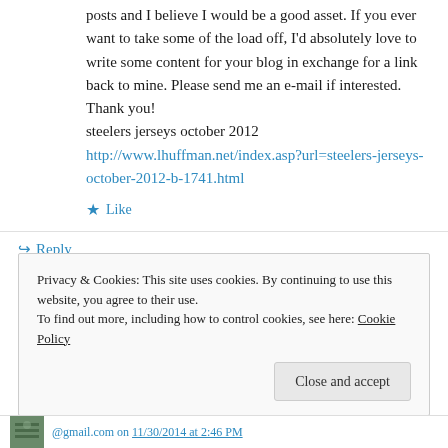posts and I believe I would be a good asset. If you ever want to take some of the load off, I'd absolutely love to write some content for your blog in exchange for a link back to mine. Please send me an e-mail if interested. Thank you! steelers jerseys october 2012 http://www.lhuffman.net/index.asp?url=steelers-jerseys-october-2012-b-1741.html
Like
Reply
Privacy & Cookies: This site uses cookies. By continuing to use this website, you agree to their use.
To find out more, including how to control cookies, see here: Cookie Policy
Close and accept
@gmail.com on 11/30/2014 at 2:46 PM